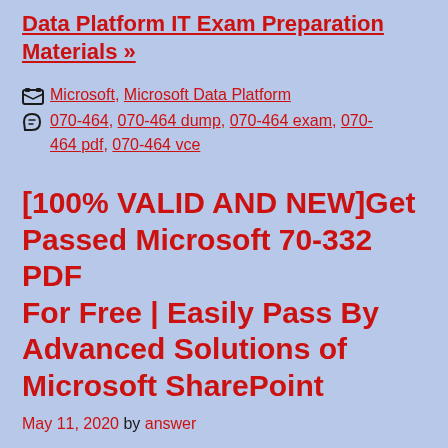Data Platform IT Exam Preparation Materials »
Categories: Microsoft, Microsoft Data Platform
Tags: 070-464, 070-464 dump, 070-464 exam, 070-464 pdf, 070-464 vce
[100% VALID AND NEW]Get Passed Microsoft 70-332 PDF For Free | Easily Pass By Advanced Solutions of Microsoft SharePoint
May 11, 2020 by answer